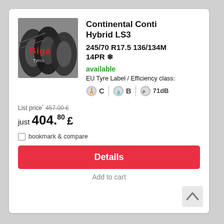[Figure (photo): Giga Tyres product image showing multiple tyres stacked with red Giga logo and Tyres text overlay]
Continental Conti Hybrid LS3
245/70 R17.5 136/134M 14PR ❄
available
EU Tyre Label / Efficiency class:
C  B  71dB
List price* 457.00 £
just 404.80 £
bookmark & compare
Details
Add to cart